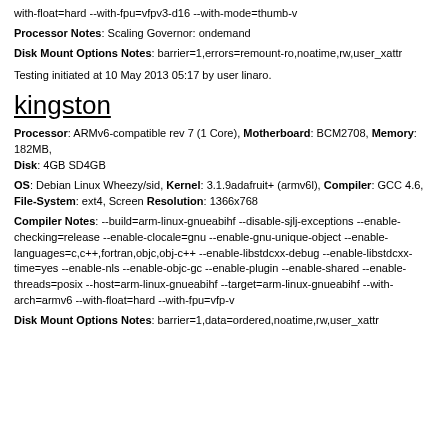with-float=hard --with-fpu=vfpv3-d16 --with-mode=thumb-v
Processor Notes: Scaling Governor: ondemand
Disk Mount Options Notes: barrier=1,errors=remount-ro,noatime,rw,user_xattr
Testing initiated at 10 May 2013 05:17 by user linaro.
kingston
Processor: ARMv6-compatible rev 7 (1 Core), Motherboard: BCM2708, Memory: 182MB, Disk: 4GB SD4GB
OS: Debian Linux Wheezy/sid, Kernel: 3.1.9adafruit+ (armv6l), Compiler: GCC 4.6, File-System: ext4, Screen Resolution: 1366x768
Compiler Notes: --build=arm-linux-gnueabihf --disable-sjlj-exceptions --enable-checking=release --enable-clocale=gnu --enable-gnu-unique-object --enable-languages=c,c++,fortran,objc,obj-c++ --enable-libstdcxx-debug --enable-libstdcxx-time=yes --enable-nls --enable-objc-gc --enable-plugin --enable-shared --enable-threads=posix --host=arm-linux-gnueabihf --target=arm-linux-gnueabihf --with-arch=armv6 --with-float=hard --with-fpu=vfp-v
Disk Mount Options Notes: barrier=1,data=ordered,noatime,rw,user_xattr